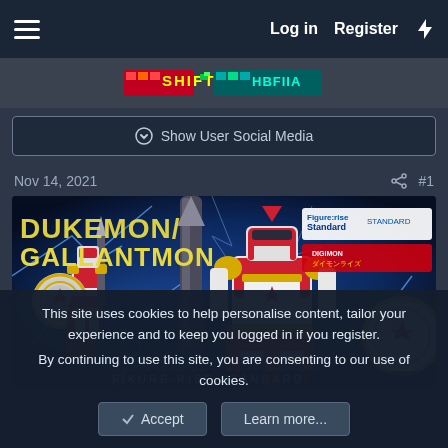Log in  Register
[Figure (screenshot): Website banner with pixel-art style logos and Japanese text]
Show User Social Media
Nov 14, 2021  #1
[Figure (photo): Dukemon/Gallantmon Figure-rise Standard promotional banner showing two armored Digimon figures on a glowing blue background]
This site uses cookies to help personalise content, tailor your experience and to keep you logged in if you register.
By continuing to use this site, you are consenting to our use of cookies.
Accept  Learn more...